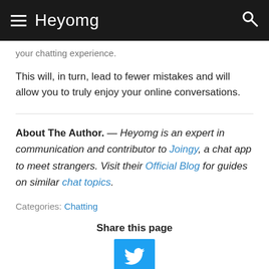Heyomg
your chatting experience.
This will, in turn, lead to fewer mistakes and will allow you to truly enjoy your online conversations.
About The Author. — Heyomg is an expert in communication and contributor to Joingy, a chat app to meet strangers. Visit their Official Blog for guides on similar chat topics.
Categories: Chatting
Share this page